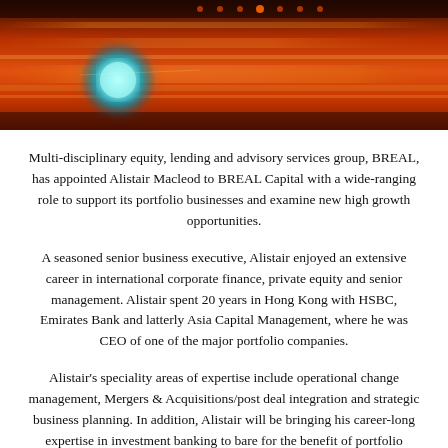[Figure (photo): Abstract red/orange background with horizontal bands and a glowing teal/cyan orb or light on the left side, dramatic gradient.]
Multi-disciplinary equity, lending and advisory services group, BREAL, has appointed Alistair Macleod to BREAL Capital with a wide-ranging role to support its portfolio businesses and examine new high growth opportunities.
A seasoned senior business executive, Alistair enjoyed an extensive career in international corporate finance, private equity and senior management. Alistair spent 20 years in Hong Kong with HSBC, Emirates Bank and latterly Asia Capital Management, where he was CEO of one of the major portfolio companies.
Alistair's speciality areas of expertise include operational change management, Mergers & Acquisitions/post deal integration and strategic business planning. In addition, Alistair will be bringing his career-long expertise in investment banking to bare for the benefit of portfolio